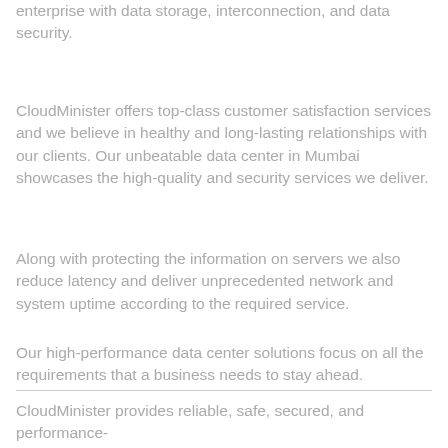enterprise with data storage, interconnection, and data security.
CloudMinister offers top-class customer satisfaction services and we believe in healthy and long-lasting relationships with our clients. Our unbeatable data center in Mumbai showcases the high-quality and security services we deliver.
Along with protecting the information on servers we also reduce latency and deliver unprecedented network and system uptime according to the required service.
Our high-performance data center solutions focus on all the requirements that a business needs to stay ahead.
CloudMinister provides reliable, safe, secured, and performance-